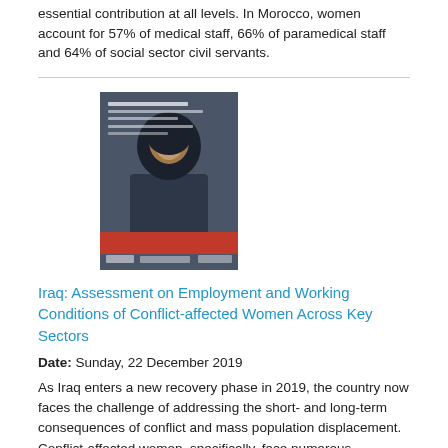essential contribution at all levels. In Morocco, women account for 57% of medical staff, 66% of paramedical staff and 64% of social sector civil servants.
[Figure (photo): Book/report cover image showing a woman wearing a hijab, with text overlay about assessment on employment and working conditions of conflict-affected women]
Iraq: Assessment on Employment and Working Conditions of Conflict-affected Women Across Key Sectors
Date: Sunday, 22 December 2019
As Iraq enters a new recovery phase in 2019, the country now faces the challenge of addressing the short- and long-term consequences of conflict and mass population displacement. Conflict-affected women, specifically, face numerous challenges in accessing employment, including limited economic opportunities, individual- and community-level barriers, legal restrictions, and exacerbated vulnerability, particularly for displaced people and female-headed households. In the Iraqi context, the nature...